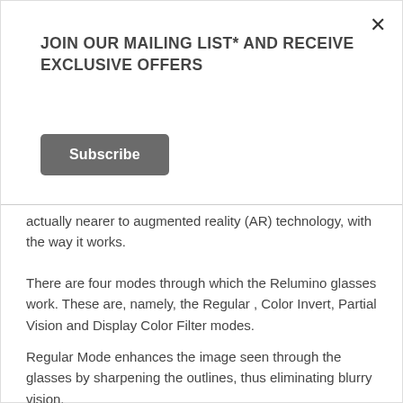JOIN OUR MAILING LIST* AND RECEIVE EXCLUSIVE OFFERS
Subscribe
actually nearer to augmented reality (AR) technology, with the way it works.
There are four modes through which the Relumino glasses work. These are, namely, the Regular , Color Invert, Partial Vision and Display Color Filter modes.
Regular Mode enhances the image seen through the glasses by sharpening the outlines, thus eliminating blurry vision.
On the other hand, people with difficulty seeing words and images from a distance can correct that with the Color Invert Mode, which boosts the contrast of text that is normally difficult to see for low vision sufferers.